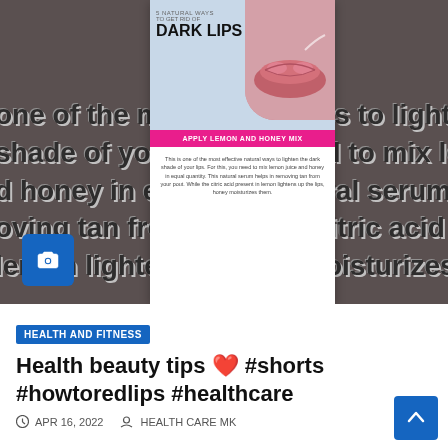[Figure (screenshot): Screenshot of a mobile webpage showing a beauty tips video/article about dark lips. Foreground shows a card with 'DARK LIPS' heading, pink banner reading 'APPLY LEMON AND HONEY MIX', small body text, and background shows blurred text about lemon and honey remedy. Blue camera icon in bottom-left of background.]
HEALTH AND FITNESS
Health beauty tips ❤️ #shorts #howtoredlips #healthcare
APR 16, 2022   HEALTH CARE MK